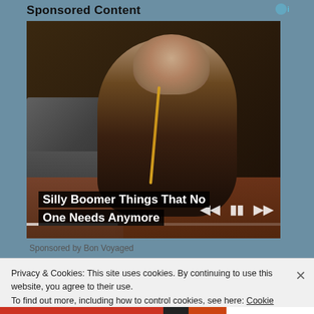Sponsored Content
[Figure (photo): Elderly bearded man with glasses and measuring tape around neck working at a sewing machine in a workshop, with pink/red curtain in background]
Silly Boomer Things That No One Needs Anymore
Sponsored by Bon Voyaged
Privacy & Cookies: This site uses cookies. By continuing to use this website, you agree to their use.
To find out more, including how to control cookies, see here: Cookie Policy
Close and accept